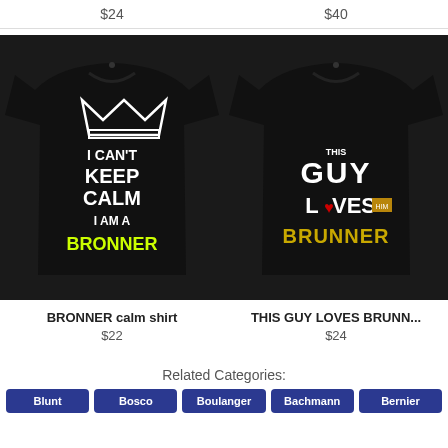$24
$40
[Figure (photo): Black t-shirt with text: I CAN'T KEEP CALM I AM A BRONNER (BRONNER in yellow)]
[Figure (photo): Black t-shirt with text: THIS GUY LOVES BRUNNER (GUY and BRUNNER in gold/yellow, LOVES in white with heart)]
BRONNER calm shirt
$22
THIS GUY LOVES BRUNN...
$24
Related Categories:
Blunt
Bosco
Boulanger
Bachmann
Bernier